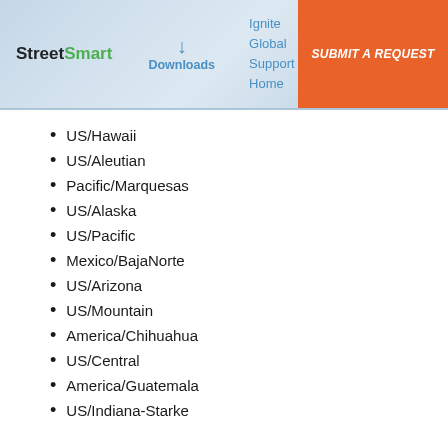StreetSmart | Downloads | Ignite Global Support Home | SUBMIT A REQUEST
US/Hawaii
US/Aleutian
Pacific/Marquesas
US/Alaska
US/Pacific
Mexico/BajaNorte
US/Arizona
US/Mountain
America/Chihuahua
US/Central
America/Guatemala
US/Indiana-Starke